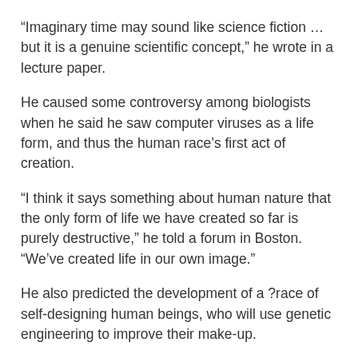“Imaginary time may sound like science fiction … but it is a genuine scientific concept,” he wrote in a lecture paper.
He caused some controversy among biologists when he said he saw computer viruses as a life form, and thus the human race’s first act of creation.
“I think it says something about human nature that the only form of life we have created so far is purely destructive,” he told a forum in Boston. “We’ve created life in our own image.”
He also predicted the development of a ?race of self-designing human beings, who will use genetic engineering to improve their make-up.
Another major area of his research was into black holes, the regions of space-time where gravity is so strong that